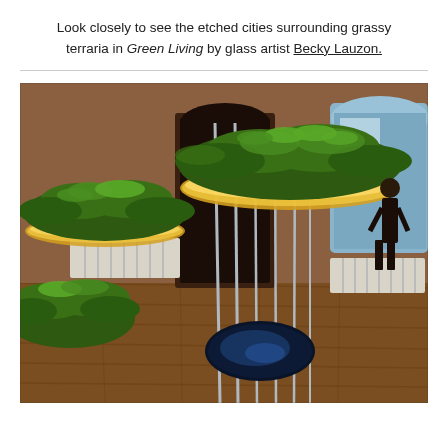Look closely to see the etched cities surrounding grassy terraria in Green Living by glass artist Becky Lauzon.
[Figure (photo): Indoor art installation photograph showing large organic-shaped terraria covered with dense green grass/moss, supported by thin metallic rods, glowing with warm golden light along their edges. The setting appears to be a gallery or historic building with wooden floors and doors. A dark reflective basin is visible on the floor. The scene has a lush, living quality.]